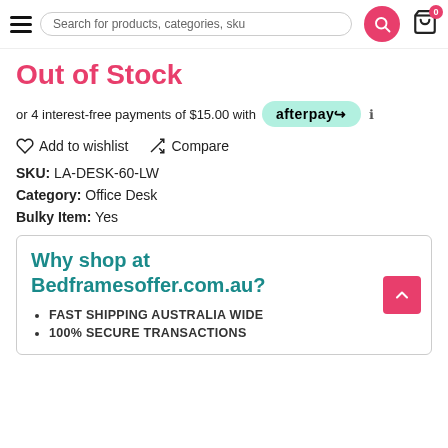Search for products, categories, sku
Out of Stock
or 4 interest-free payments of $15.00 with afterpay
Add to wishlist   Compare
SKU: LA-DESK-60-LW
Category: Office Desk
Bulky Item: Yes
Why shop at Bedframesoffer.com.au?
FAST SHIPPING AUSTRALIA WIDE
100% SECURE TRANSACTIONS